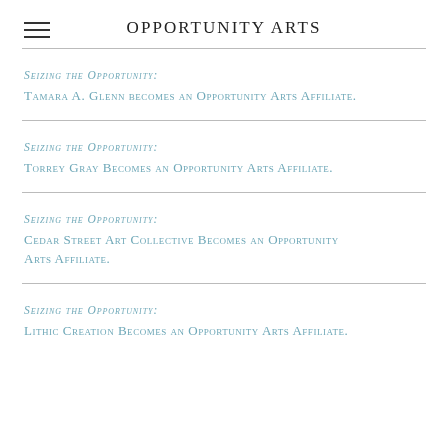Opportunity Arts
Seizing the Opportunity:
Tamara A. Glenn becomes an Opportunity Arts Affiliate.
Seizing the Opportunity:
Torrey Gray Becomes an Opportunity Arts Affiliate.
Seizing the Opportunity:
Cedar Street Art Collective Becomes an Opportunity Arts Affiliate.
Seizing the Opportunity:
Lithic Creation Becomes an Opportunity Arts Affiliate.